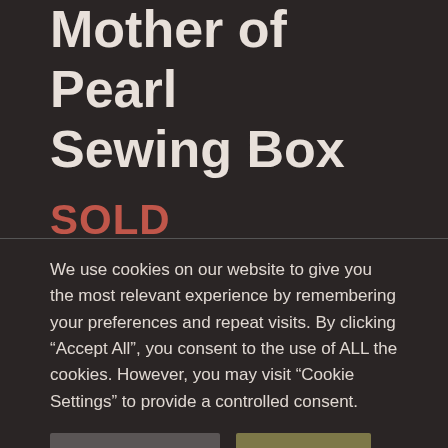Mother of Pearl Sewing Box
SOLD
Outstanding sarcophagus shaped antique Coromandel Sewing box. Adorned with exquisite
We use cookies on our website to give you the most relevant experience by remembering your preferences and repeat visits. By clicking “Accept All”, you consent to the use of ALL the cookies. However, you may visit "Cookie Settings" to provide a controlled consent.
Cookie Settings
Accept All